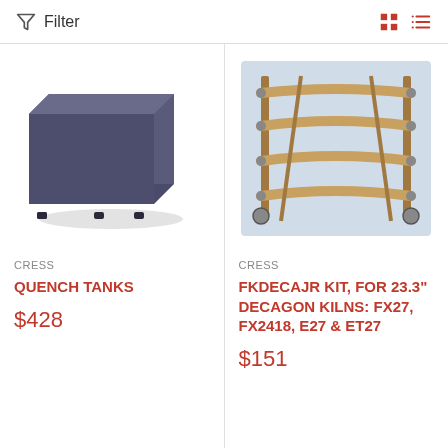Filter
[Figure (photo): Dark metal quench tank box on small feet, viewed at an angle]
CRESS
QUENCH TANKS
$428
[Figure (photo): Wooden shelf/kiln furniture kit with multiple curved shelves on casters, viewed at an angle in a workshop setting]
CRESS
FKDECAJR KIT, FOR 23.3" DECAGON KILNS: FX27, FX2418, E27 & ET27
$151